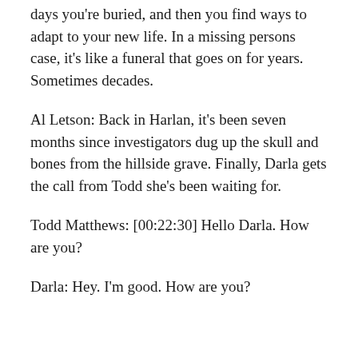days you're buried, and then you find ways to adapt to your new life. In a missing persons case, it's like a funeral that goes on for years. Sometimes decades.
Al Letson: Back in Harlan, it's been seven months since investigators dug up the skull and bones from the hillside grave. Finally, Darla gets the call from Todd she's been waiting for.
Todd Matthews: [00:22:30] Hello Darla. How are you?
Darla: Hey. I'm good. How are you?